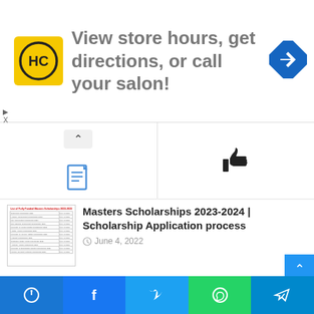[Figure (advertisement): HC salon logo ad: yellow square with HC logo, text 'View store hours, get directions, or call your salon!', blue diamond arrow icon]
[Figure (screenshot): Website tab navigation bar with chevron up icon on left half and thumbs-up icon on right half]
[Figure (table-as-image): Thumbnail of a table listing fully funded master scholarships 2023-2024]
Masters Scholarships 2023-2024 | Scholarship Application process
June 4, 2022
[Figure (photo): Gray placeholder image for Japukay village article]
Japukay, An Ancient Village of Punial, Ghizer, Gilgit-Baltistan
May 13, 2022
[Figure (infographic): Bottom social sharing bar with notification bell, Facebook, Twitter, WhatsApp, and Telegram icons]